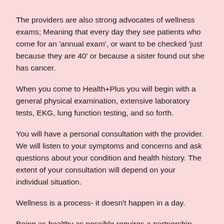The providers are also strong advocates of wellness exams; Meaning that every day they see patients who come for an 'annual exam', or want to be checked 'just because they are 40' or because a sister found out she has cancer.
When you come to Health+Plus you will begin with a general physical examination, extensive laboratory tests, EKG, lung function testing, and so forth.
You will have a personal consultation with the provider. We will listen to your symptoms and concerns and ask questions about your condition and health history. The extent of your consultation will depend on your individual situation.
Wellness is a process- it doesn't happen in a day.
Being as healthy as possible requires a partnership. Taking nutritional supplements and modifying diet are necessary